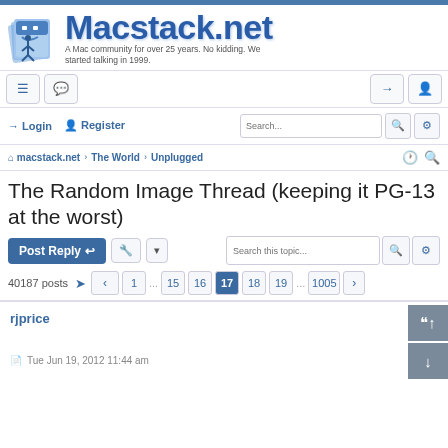[Figure (logo): Macstack.net logo with Mac OS X Finder icon and blue text. Subtitle: 'A Mac community for over 25 years. No kidding. We started talking in 1999.']
Login  Register  Search...
macstack.net › The World › Unplugged
The Random Image Thread (keeping it PG-13 at the worst)
Post Reply  Tools  Search this topic...
40187 posts  1 ... 15 16 17 18 19 ... 1005
rjprice
Tue Jun 19, 2012 11:44 am